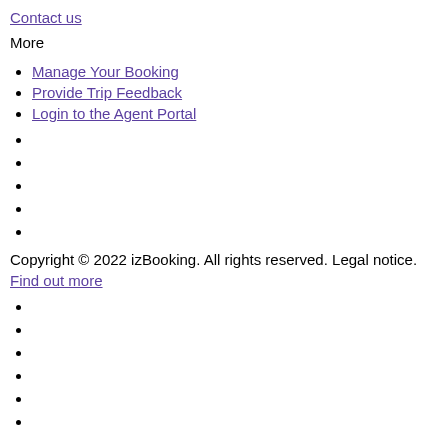Contact us
More
Manage Your Booking
Provide Trip Feedback
Login to the Agent Portal
Copyright © 2022 izBooking. All rights reserved. Legal notice. Find out more